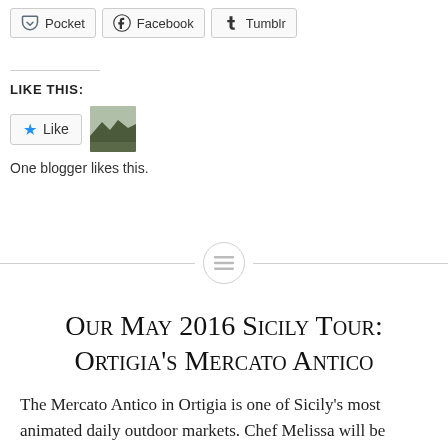Pocket
Facebook
Tumblr
Like this:
Like
[Figure (photo): Blogger thumbnail image showing a landscape scene]
One blogger likes this.
Our May 2016 Sicily Tour: Ortigia's Mercato Antico
The Mercato Antico in Ortigia is one of Sicily's most animated daily outdoor markets. Chef Melissa will be taking us through the stalls on the morning of Day 7 of